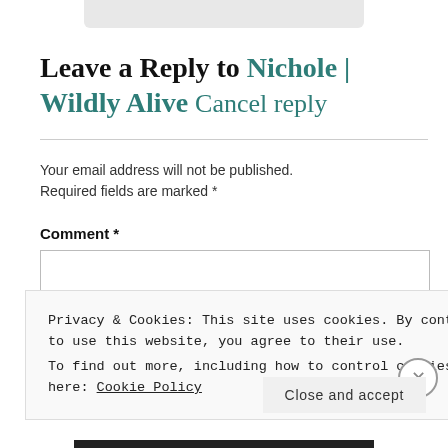Leave a Reply to Nichole | Wildly Alive Cancel reply
Your email address will not be published. Required fields are marked *
Comment *
Privacy & Cookies: This site uses cookies. By continuing to use this website, you agree to their use.
To find out more, including how to control cookies, see here: Cookie Policy
Close and accept